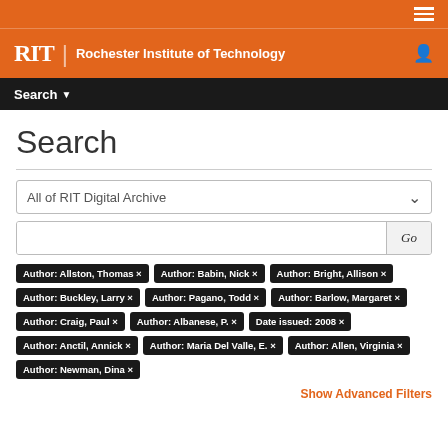[Figure (logo): RIT orange header bar with hamburger menu icon]
RIT | Rochester Institute of Technology
Search ▾
Search
All of RIT Digital Archive
Go
Author: Allston, Thomas ×
Author: Babin, Nick ×
Author: Bright, Allison ×
Author: Buckley, Larry ×
Author: Pagano, Todd ×
Author: Barlow, Margaret ×
Author: Craig, Paul ×
Author: Albanese, P. ×
Date issued: 2008 ×
Author: Anctil, Annick ×
Author: Maria Del Valle, E. ×
Author: Allen, Virginia ×
Author: Newman, Dina ×
Show Advanced Filters